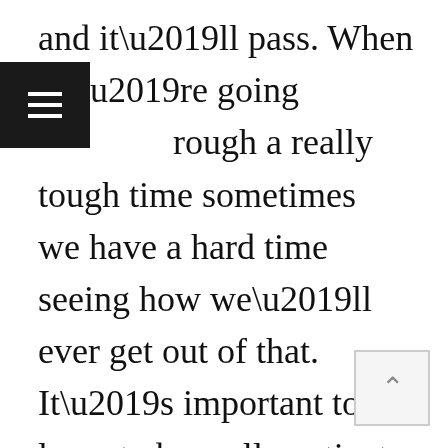and it’ll pass. When we’re going through a really tough time sometimes we have a hard time seeing how we’ll ever get out of that. It’s important to learn to be really patient and remember that this too will pass.”